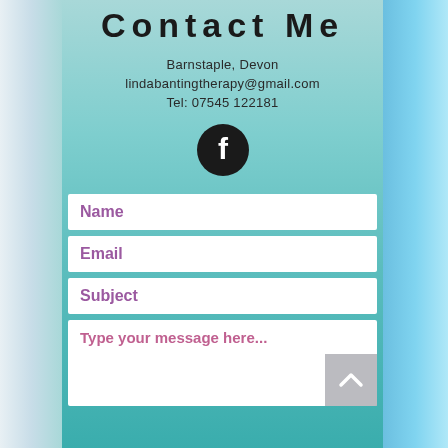Contact Me
Barnstaple, Devon
lindabantingtherapy@gmail.com
Tel: 07545 122181
[Figure (logo): Facebook logo icon — black circle with white 'f']
Name
Email
Subject
Type your message here...